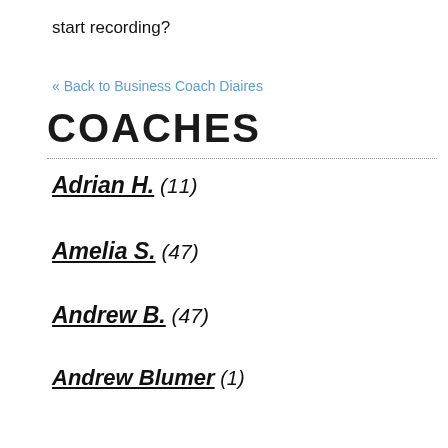start recording?
« Back to Business Coach Diaires
COACHES
Adrian H. (11)
Amelia S. (47)
Andrew B. (47)
Andrew Blumer (1)
Angela J. (7)
Ben S. (51)
Devin W. (4)